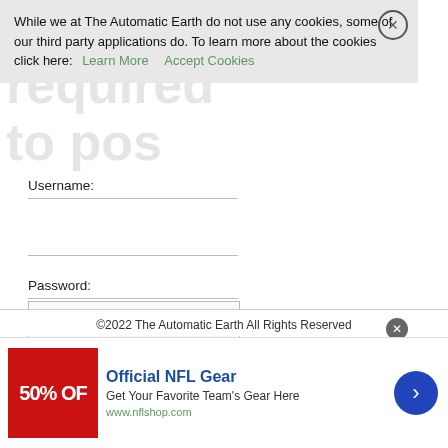While we at The Automatic Earth do not use any cookies, some of our third party applications do. To learn more about the cookies click here: Learn More  Accept Cookies
Login
required
to post
Username:
Password:
Keep me signed in
Register
Lost Password
©2022 The Automatic Earth All Rights Reserved
[Figure (screenshot): Advertisement banner: NFL Shop ad showing '50% OFF' in red box, 'Official NFL Gear' heading in blue, 'Get Your Favorite Team's Gear Here' subtitle, 'www.nflshop.com' URL in green, blue arrow button on right]